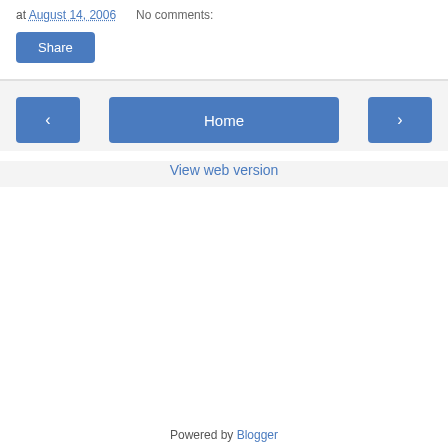at August 14, 2006    No comments:
Share
‹
Home
›
View web version
Powered by Blogger